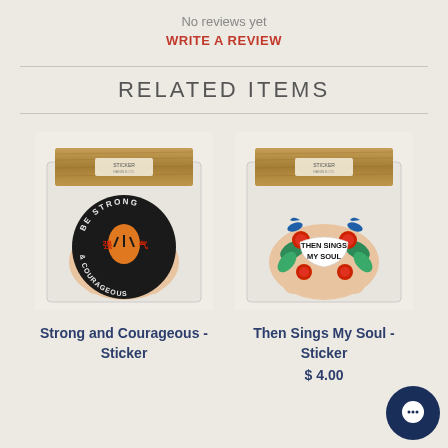No reviews yet
WRITE A REVIEW
RELATED ITEMS
[Figure (photo): Hand holding a packaged sticker with a black circular design featuring a tiger and text 'Be Strong & Courageous' with Chinese characters, attached to a wooden header card labeled 'STICKER']
[Figure (photo): Hand holding a packaged sticker with a floral design featuring roses and birds with text 'Then Sings My Soul', attached to a wooden header card labeled 'STICKER']
Strong and Courageous - Sticker
Then Sings My Soul - Sticker
$ 4.00